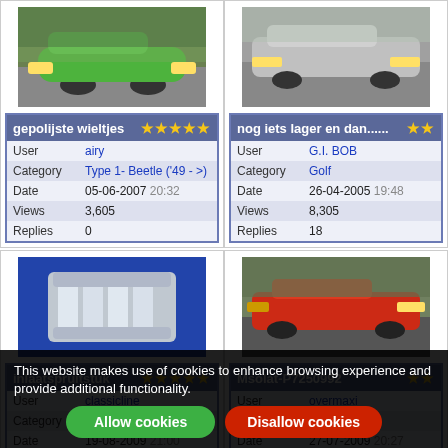[Figure (photo): Green VW Beetle car photo (top left)]
[Figure (photo): Gray/silver VW Golf car photo (top right)]
|  | gepolijste wieltjes | ★★★★★ |
| User | airy |  |
| Category | Type 1- Beetle ('49 - >) |  |
| Date | 05-06-2007 20:32 |  |
| Views | 3,605 |  |
| Replies | 0 |  |
|  | nog iets lager en dan...... | ★★ |
| User | G.I. BOB |  |
| Category | Golf |  |
| Date | 26-04-2005 19:48 |  |
| Views | 8,305 |  |
| Replies | 18 |  |
[Figure (photo): Chrome intake manifold/exhaust part photo (bottom left)]
[Figure (photo): Red VW Golf car in motion photo (bottom right)]
|  | inlaatspruitstuk | ★★★★★ |
| User | classicline |  |
| Category | Golf |  |
| Date | 19-08-2009 21:00 |  |
| Views | 2,884 |  |
|  | Msolat-P7250992 | ★★ |
| User | overmaxi |  |
| Category | Golf |  |
| Date | 27-07-2009 20:27 |  |
| Views | 3,426 |  |
This website makes use of cookies to enhance browsing experience and provide additional functionality.